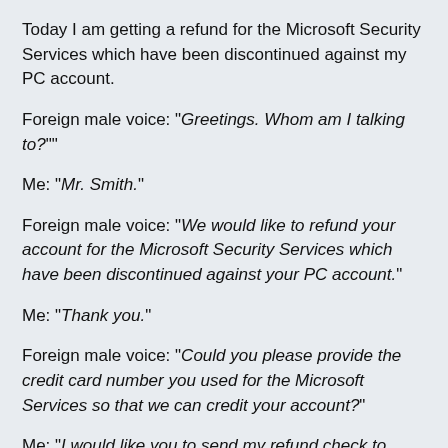Today I am getting a refund for the Microsoft Security Services which have been discontinued against my PC account.
Foreign male voice: "Greetings. Whom am I talking to?""
Me: "Mr. Smith."
Foreign male voice: "We would like to refund your account for the Microsoft Security Services which have been discontinued against your PC account."
Me: "Thank you."
Foreign male voice: "Could you please provide the credit card number you used for the Microsoft Services so that we can credit your account?"
Me: "I would like you to send my refund check to 1600 Pennsylvania Ave, in Washington, DC."
Foreign male voice: "We cannot send you a refund by check